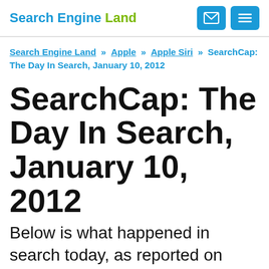Search Engine Land
Search Engine Land » Apple » Apple Siri » SearchCap: The Day In Search, January 10, 2012
SearchCap: The Day In Search, January 10, 2012
Below is what happened in search today, as reported on Search Engine Land and from other places across the web. From Search Engine Land: The History Of Google Places, All On One Page Maybe it's